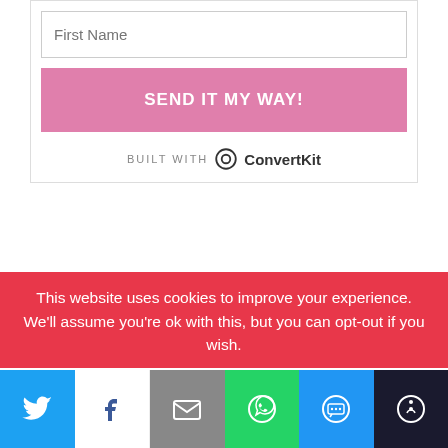[Figure (screenshot): Form card with First Name input field, pink SEND IT MY WAY! button, and Built With ConvertKit branding]
RECENT POSTS
[Figure (photo): Thumbnail image for blog post about chemo care package review]
Chemo care package review
This website uses cookies to improve your experience. We'll assume you're ok with this, but you can opt-out if you wish.
[Figure (infographic): Social share bar with Twitter, Facebook, Email, WhatsApp, SMS, and More buttons]